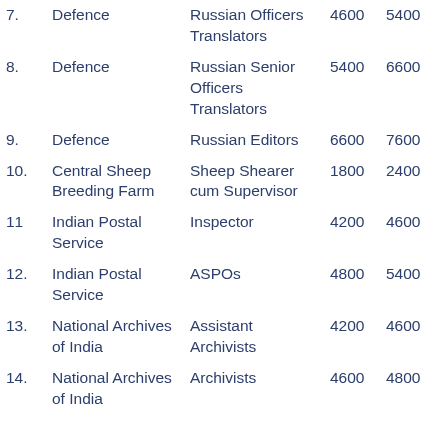| No. | Department/Organisation | Post | Col1 | Col2 |
| --- | --- | --- | --- | --- |
| 7. | Defence | Russian Officers Translators | 4600 | 5400 |
| 8. | Defence | Russian Senior Officers Translators | 5400 | 6600 |
| 9. | Defence | Russian Editors | 6600 | 7600 |
| 10. | Central Sheep Breeding Farm | Sheep Shearer cum Supervisor | 1800 | 2400 |
| 11 | Indian Postal Service | Inspector | 4200 | 4600 |
| 12. | Indian Postal Service | ASPOs | 4800 | 5400 |
| 13. | National Archives of India | Assistant Archivists | 4200 | 4600 |
| 14. | National Archives of India | Archivists | 4600 | 4800 |